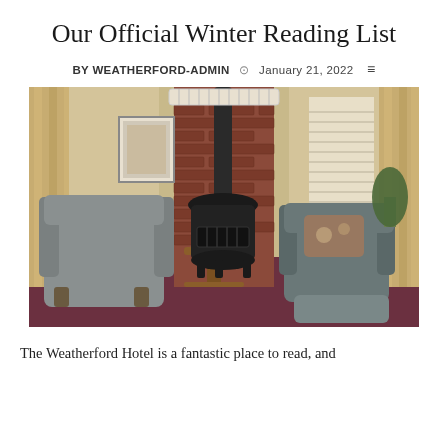Our Official Winter Reading List
BY WEATHERFORD-ADMIN  ⊙  January 21, 2022  ≡
[Figure (photo): A cozy hotel lounge area with two grey wingback chairs, a round wooden side table with a lamp and books, a tall black cast-iron wood stove with a pipe going to the ceiling, exposed red brick wall, ornate curtains on both sides, and a grey wingback chair with ottoman and floral pillow on the right.]
The Weatherford Hotel is a fantastic place to read, and